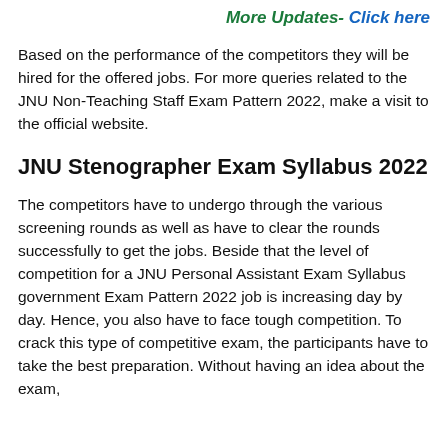More Updates- Click here
Based on the performance of the competitors they will be hired for the offered jobs. For more queries related to the JNU Non-Teaching Staff Exam Pattern 2022, make a visit to the official website.
JNU Stenographer Exam Syllabus 2022
The competitors have to undergo through the various screening rounds as well as have to clear the rounds successfully to get the jobs. Beside that the level of competition for a JNU Personal Assistant Exam Syllabus government Exam Pattern 2022 job is increasing day by day. Hence, you also have to face tough competition. To crack this type of competitive exam, the participants have to take the best preparation. Without having an idea about the exam,